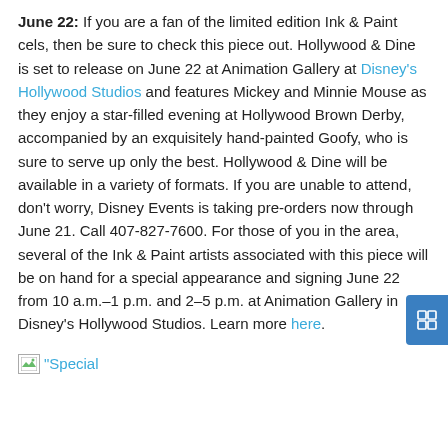June 22: If you are a fan of the limited edition Ink & Paint cels, then be sure to check this piece out. Hollywood & Dine is set to release on June 22 at Animation Gallery at Disney's Hollywood Studios and features Mickey and Minnie Mouse as they enjoy a star-filled evening at Hollywood Brown Derby, accompanied by an exquisitely hand-painted Goofy, who is sure to serve up only the best. Hollywood & Dine will be available in a variety of formats. If you are unable to attend, don't worry, Disney Events is taking pre-orders now through June 21. Call 407-827-7600. For those of you in the area, several of the Ink & Paint artists associated with this piece will be on hand for a special appearance and signing June 22 from 10 a.m.–1 p.m. and 2–5 p.m. at Animation Gallery in Disney's Hollywood Studios. Learn more here.
[Figure (other): Broken image placeholder with label '"Special']